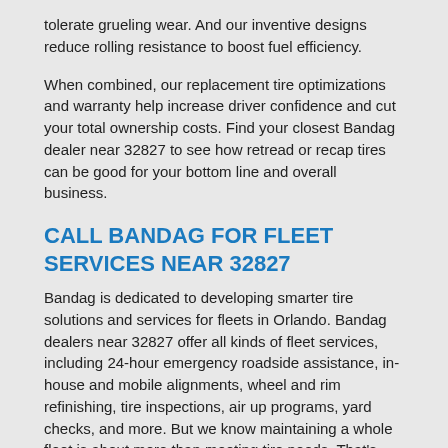tolerate grueling wear. And our inventive designs reduce rolling resistance to boost fuel efficiency.
When combined, our replacement tire optimizations and warranty help increase driver confidence and cut your total ownership costs. Find your closest Bandag dealer near 32827 to see how retread or recap tires can be good for your bottom line and overall business.
CALL BANDAG FOR FLEET SERVICES NEAR 32827
Bandag is dedicated to developing smarter tire solutions and services for fleets in Orlando. Bandag dealers near 32827 offer all kinds of fleet services, including 24-hour emergency roadside assistance, in-house and mobile alignments, wheel and rim refinishing, tire inspections, air up programs, yard checks, and more. But we know maintaining a whole fleet is about more than meeting tire needs. That's why we work to cut the hassles of fleet management with [content-text-5-6] That's one reason we strive to reduce fleet management struggles with inventory tracking, tire program reporting and analysis, single source billing, and driver